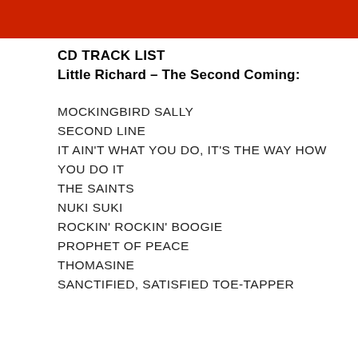[Figure (photo): Red image bar at top of page]
CD TRACK LIST
Little Richard – The Second Coming:
MOCKINGBIRD SALLY
SECOND LINE
IT AIN'T WHAT YOU DO, IT'S THE WAY HOW YOU DO IT
THE SAINTS
NUKI SUKI
ROCKIN' ROCKIN' BOOGIE
PROPHET OF PEACE
THOMASINE
SANCTIFIED, SATISFIED TOE-TAPPER